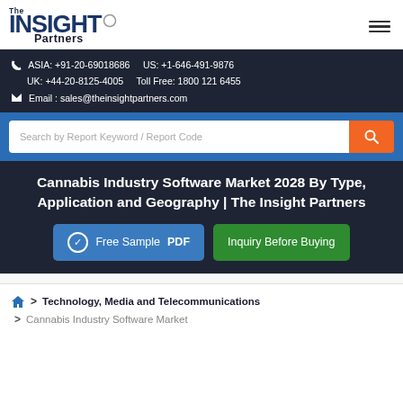[Figure (logo): The Insight Partners logo with circular mark]
ASIA: +91-20-69018686    US: +1-646-491-9876
UK: +44-20-8125-4005    Toll Free: 1800 121 6455
Email : sales@theinsightpartners.com
Search by Report Keyword / Report Code
Cannabis Industry Software Market 2028 By Type, Application and Geography | The Insight Partners
Free Sample PDF
Inquiry Before Buying
> Technology, Media and Telecommunications
> Cannabis Industry Software Market